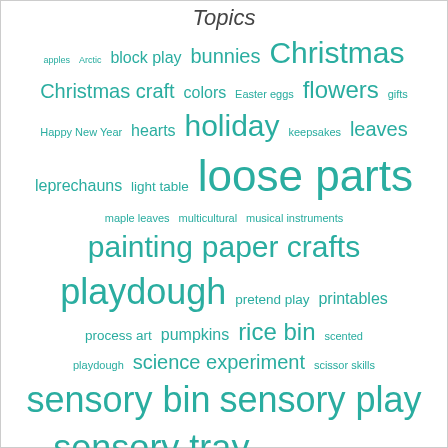Topics
[Figure (other): Tag cloud / word cloud of topics related to early childhood education and sensory play, rendered in teal/green color. Topics include: apples, Arctic, block play, bunnies, Christmas, Christmas craft, colors, Easter eggs, flowers, gifts, Happy New Year, hearts, holiday, keepsakes, leaves, leprechauns, light table, loose parts, maple leaves, multicultural, musical instruments, painting, paper crafts, playdough, pretend play, printables, process art, pumpkins, rice bin, scented playdough, science experiment, scissor skills, sensory bin, sensory play, sensory tray, shamrocks, spiders, spring, St. Patrick's Day, sunflowers, turtles, unicorns, valentines]